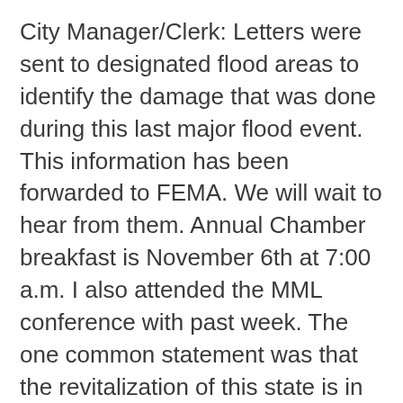City Manager/Clerk: Letters were sent to designated flood areas to identify the damage that was done during this last major flood event. This information has been forwarded to FEMA. We will wait to hear from them. Annual Chamber breakfast is November 6th at 7:00 a.m. I also attended the MML conference with past week. The one common statement was that the revitalization of this state is in our Downtown Areas. We have a downtown that is begging to be used and invited into. We need to have a workshop on the Administration Goals that were identified, maybe after the election. Thank you for approving my compensation package.